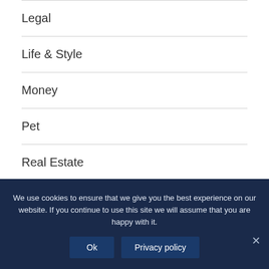Legal
Life & Style
Money
Pet
Real Estate
Shopping
We use cookies to ensure that we give you the best experience on our website. If you continue to use this site we will assume that you are happy with it.
Ok  Privacy policy